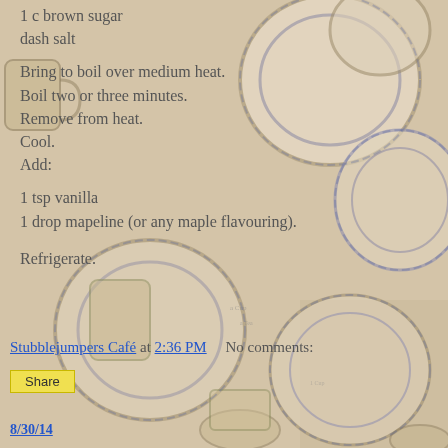1 c brown sugar
dash salt
Bring to boil over medium heat.
Boil two or three minutes.
Remove from heat.
Cool.
Add:
1 tsp vanilla
1 drop mapeline (or any maple flavouring).
Refrigerate.
Stubblejumpers Café at 2:36 PM   No comments:
Share
8/30/14